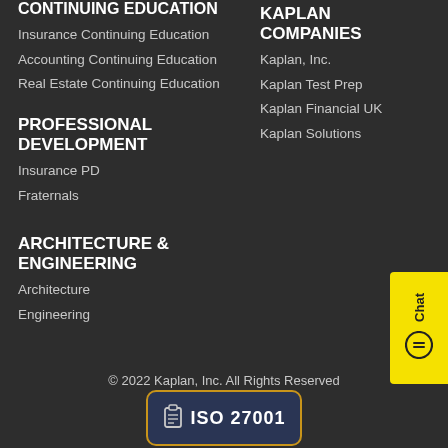CONTINUING EDUCATION
Insurance Continuing Education
Accounting Continuing Education
Real Estate Continuing Education
KAPLAN COMPANIES
Kaplan, Inc.
Kaplan Test Prep
Kaplan Financial UK
Kaplan Solutions
PROFESSIONAL DEVELOPMENT
Insurance PD
Fraternals
ARCHITECTURE & ENGINEERING
Architecture
Engineering
© 2022 Kaplan, Inc. All Rights Reserved
[Figure (logo): ISO 27001 certification badge with clipboard icon, dark blue background with golden border]